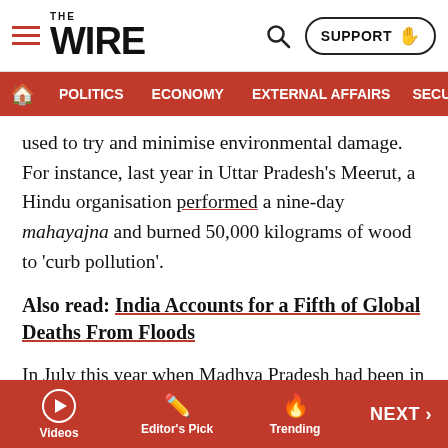THE WIRE — SUPPORT | POLITICS | ECONOMY | EXTERNAL AFFAIRS | SECU...
used to try and minimise environmental damage. For instance, last year in Uttar Pradesh's Meerut, a Hindu organisation performed a nine-day mahayajna and burned 50,000 kilograms of wood to 'curb pollution'.
Also read: India Accounts for a Fifth of Global Deaths From Floods
In July this year when Madhya Pradesh had been in need of rain, two frogs had been infamously 'married' to 'please the gods' and bring rain. The rains did come but when they eventually caused floods, a divorce was facilitated.
The flood situation in Madhya Pradesh has now turned
Videos | Editor's Pick | Trending | NEXT >